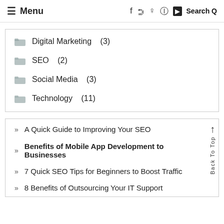≡ Menu   f  𝕏   Pinterest  Instagram  YouTube  Search Q
Digital Marketing (3)
SEO (2)
Social Media (3)
Technology (11)
» A Quick Guide to Improving Your SEO
» Benefits of Mobile App Development to Businesses
» 7 Quick SEO Tips for Beginners to Boost Traffic
» 8 Benefits of Outsourcing Your IT Support